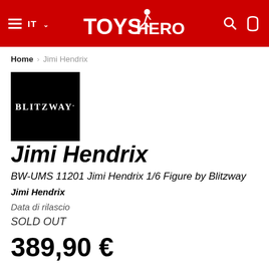ToysHeroes — IT
Home > Jimi Hendrix
[Figure (logo): Blitzway brand logo — white text on black square background]
Jimi Hendrix
BW-UMS 11201 Jimi Hendrix 1/6 Figure by Blitzway
Jimi Hendrix
Data di rilascio
SOLD OUT
389,90 €